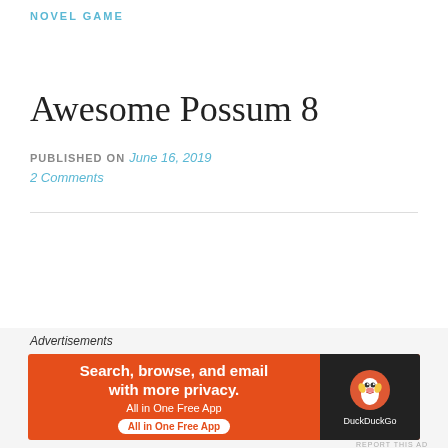NOVEL GAME
Awesome Possum 8
PUBLISHED ON June 16, 2019
2 Comments
[Figure (illustration): Partial view of illustrated 'Awesome' text in bold red italic, with handwritten-style 'Awesome Posts' annotation in pink/red cursive on the right side]
Advertisements
[Figure (other): DuckDuckGo advertisement banner: orange background with text 'Search, browse, and email with more privacy. All in One Free App' on left, DuckDuckGo logo on dark background on right]